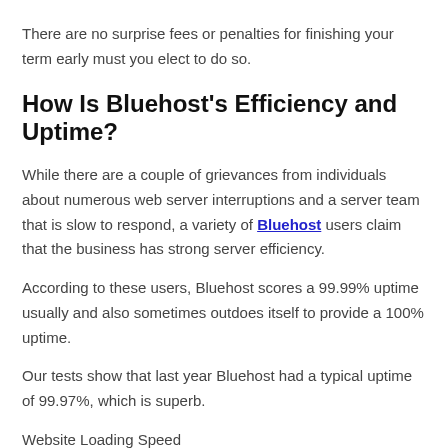There are no surprise fees or penalties for finishing your term early must you elect to do so.
How Is Bluehost’s Efficiency and Uptime?
While there are a couple of grievances from individuals about numerous web server interruptions and a server team that is slow to respond, a variety of Bluehost users claim that the business has strong server efficiency.
According to these users, Bluehost scores a 99.99% uptime usually and also sometimes outdoes itself to provide a 100% uptime.
Our tests show that last year Bluehost had a typical uptime of 99.97%, which is superb.
Website Loading Speed